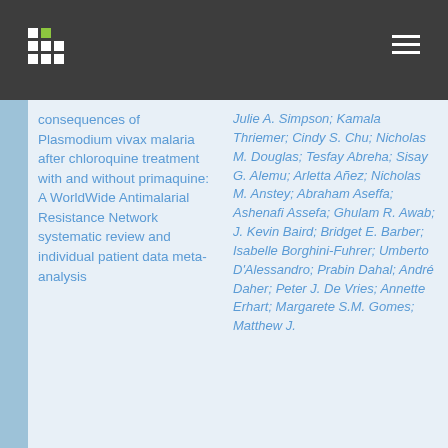consequences of Plasmodium vivax malaria after chloroquine treatment with and without primaquine: A WorldWide Antimalarial Resistance Network systematic review and individual patient data meta-analysis
Julie A. Simpson; Kamala Thriemer; Cindy S. Chu; Nicholas M. Douglas; Tesfay Abreha; Sisay G. Alemu; Arletta Añez; Nicholas M. Anstey; Abraham Aseffa; Ashenafi Assefa; Ghulam R. Awab; J. Kevin Baird; Bridget E. Barber; Isabelle Borghini-Fuhrer; Umberto D'Alessandro; Prabin Dahal; André Daher; Peter J. De Vries; Annette Erhart; Margarete S.M. Gomes; Matthew J.